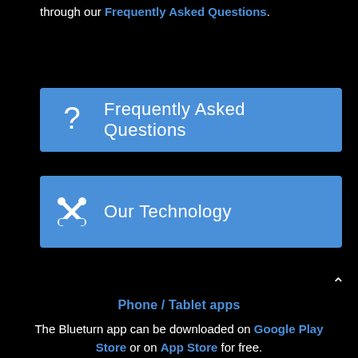through our Frequently Asked Questions.
[Figure (infographic): Blue button with question mark icon and label 'Frequently Asked Questions']
[Figure (infographic): Blue button with wrench/tools icon and label 'Our Technology']
Phone / Tablet apps
The Blueturn app can be downloaded on Google Play Store or on App Store for free.